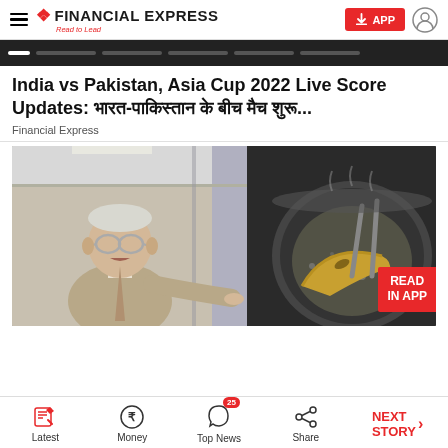FINANCIAL EXPRESS — Read to Lead
India vs Pakistan, Asia Cup 2022 Live Score Updates: भारत-पाकिस्तान के बीच मैच शुरू...
Financial Express
[Figure (photo): Composite photo: left side shows an older man in a suit and glasses pointing to his right, right side shows a banana being cooked in a pan with tongs. A red 'READ IN APP' button overlays the bottom right.]
Latest | Money | Top News (25) | Share | NEXT STORY